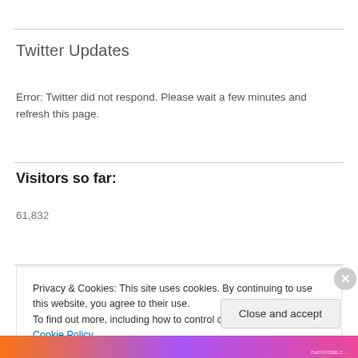Twitter Updates
Error: Twitter did not respond. Please wait a few minutes and refresh this page.
Visitors so far:
61,832
Privacy & Cookies: This site uses cookies. By continuing to use this website, you agree to their use. To find out more, including how to control cookies, see here: Cookie Policy
Close and accept